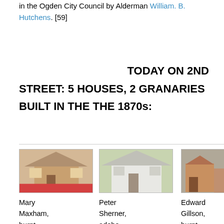in the Ogden City Council by Alderman William. B. Hutchens. [59]
TODAY ON 2ND STREET: 5 HOUSES, 2 GRANARIES BUILT IN THE THE 1870s:
[Figure (photo): Four column photo table showing historic houses: Mary Maxham burnt brick house, Peter Sherner adobe house/stucco, Edward Gillson burnt brick granary, and a fourth partially visible building.]
Mary Maxham, burnt brick, c. 1871.
Peter Sherner, adobe house/stucco, 1874,
Edward Gillson, burnt brick granary, 1875
Bing... granary, burnt brick, 187...